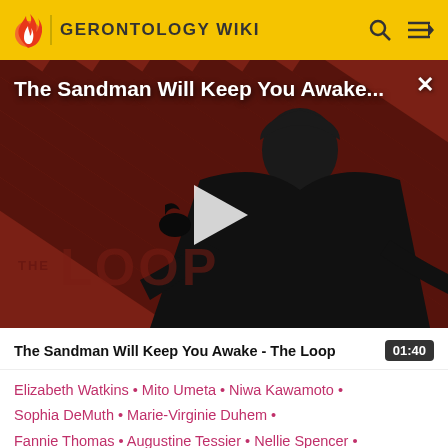GERONTOLOGY WIKI
[Figure (screenshot): Video thumbnail for 'The Sandman Will Keep You Awake...' showing a dark figure against a red and black diagonal striped background with The Loop watermark. A white play button triangle is centered on the image.]
The Sandman Will Keep You Awake - The Loop
01:40
Elizabeth Watkins • Mito Umeta • Niwa Kawamoto • Sophia DeMuth • Marie-Virginie Duhem • Fannie Thomas • Augustine Tessier • Nellie Spencer •